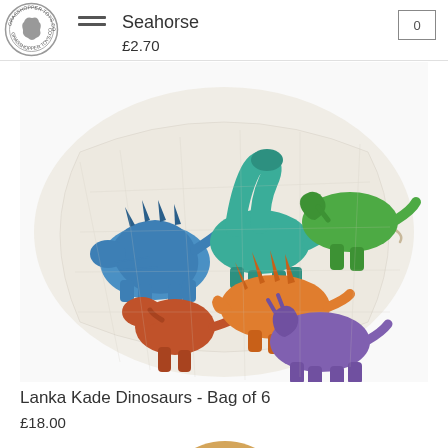Seahorse   £2.70
[Figure (photo): Colorful wooden dinosaur toy figures in a drawstring mesh bag - Lanka Kade Dinosaurs set of 6 including blue stegosaurus, red T-rex, orange spinosaurus, purple triceratops, teal brachiosaurus, and green dinosaur]
Lanka Kade Dinosaurs - Bag of 6
£18.00
[Figure (photo): Partially visible wooden toy product at bottom of page]